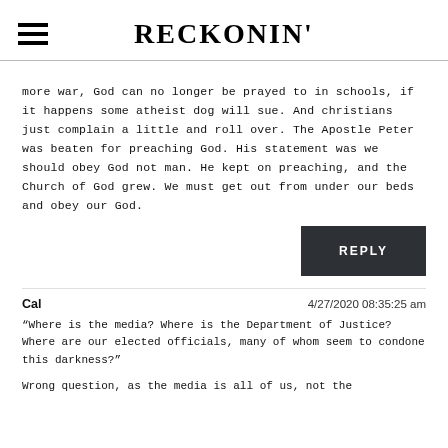RECKONIN'
more war, God can no longer be prayed to in schools, if it happens some atheist dog will sue. And christians just complain a little and roll over. The Apostle Peter was beaten for preaching God. His statement was we should obey God not man. He kept on preaching, and the Church of God grew. We must get out from under our beds and obey our God.
REPLY
Cal	4/27/2020 08:35:25 am
“Where is the media? Where is the Department of Justice? Where are our elected officials, many of whom seem to condone this darkness?”
Wrong question, as the media is all of us, not the